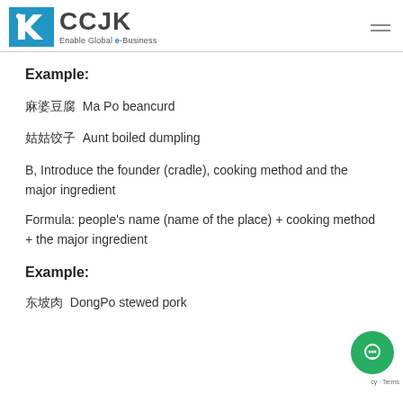CCJK - Enable Global e-Business
Example:
麻婆豆腐 Ma Po beancurd
姑姑饺子 Aunt boiled dumpling
B, Introduce the founder (cradle), cooking method and the major ingredient
Formula: people's name (name of the place) + cooking method + the major ingredient
Example:
东坡肉 DongPo stewed pork